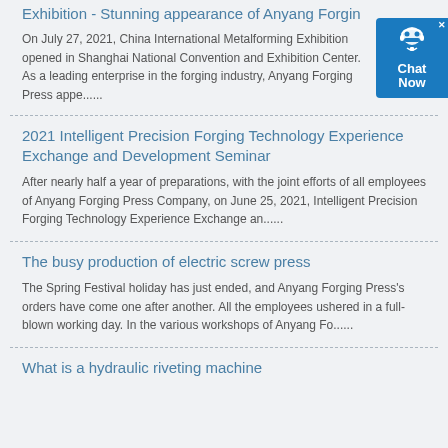Exhibition - Stunning appearance of Anyang Forgin
On July 27, 2021, China International Metalforming Exhibition opened in Shanghai National Convention and Exhibition Center. As a leading enterprise in the forging industry, Anyang Forging Press appe......
2021 Intelligent Precision Forging Technology Experience Exchange and Development Seminar
After nearly half a year of preparations, with the joint efforts of all employees of Anyang Forging Press Company, on June 25, 2021, Intelligent Precision Forging Technology Experience Exchange an......
The busy production of electric screw press
The Spring Festival holiday has just ended, and Anyang Forging Press's orders have come one after another. All the employees ushered in a full-blown working day. In the various workshops of Anyang Fo......
What is a hydraulic riveting machine